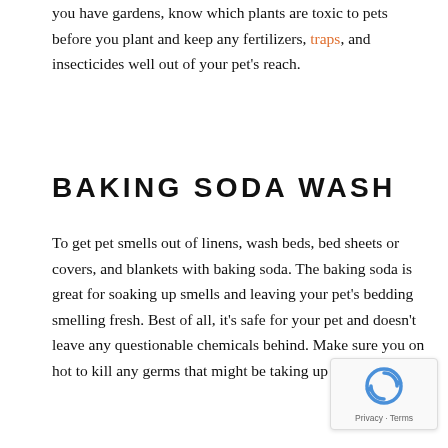you have gardens, know which plants are toxic to pets before you plant and keep any fertilizers, traps, and insecticides well out of your pet's reach.
BAKING SODA WASH
To get pet smells out of linens, wash beds, bed sheets or covers, and blankets with baking soda. The baking soda is great for soaking up smells and leaving your pet's bedding smelling fresh. Best of all, it's safe for your pet and doesn't leave any questionable chemicals behind. Make sure you on hot to kill any germs that might be taking up residence.